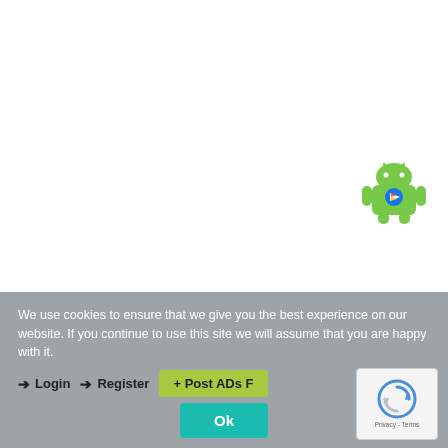[Figure (logo): Android robot mascot with Google Play badge on chest, green color, 3D rendered illustration]
We use cookies to ensure that we give you the best experience on our website. If you continue to use this site we will assume that you are happy with it.
→ Login
→ Register
+ Post ADs Free
Ok
[Figure (other): reCAPTCHA widget showing rotating arrows icon with Privacy - Terms text]